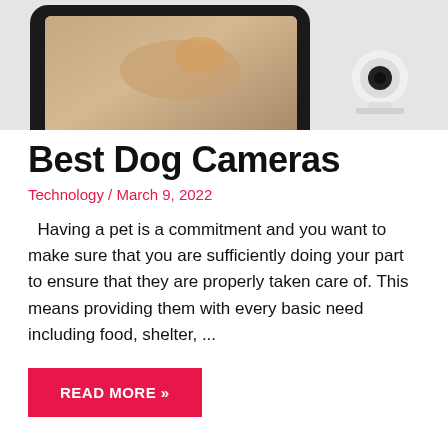[Figure (photo): Hero image showing a tablet-style smart display device with a dog visible on screen, and a small white security camera on a stand to the right, against a white background.]
Best Dog Cameras
Technology / March 9, 2022
Having a pet is a commitment and you want to make sure that you are sufficiently doing your part to ensure that they are properly taken care of. This means providing them with every basic need including food, shelter, ...
READ MORE »